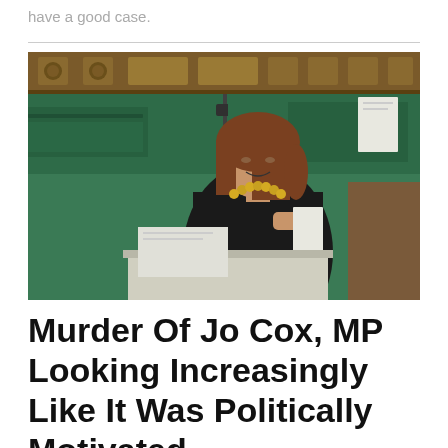have a good case.
[Figure (photo): A woman with brown hair wearing a black dress and yellow/gold beaded necklace speaking in what appears to be the UK House of Commons chamber, with green leather benches and ornate wooden paneling visible in the background. She appears to be holding papers and speaking at a dispatch box.]
Murder Of Jo Cox, MP Looking Increasingly Like It Was Politically Motivated